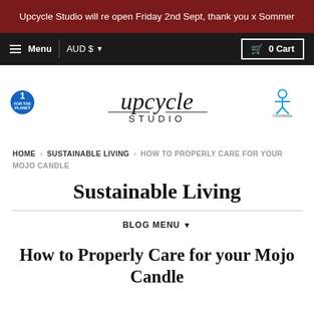Upcycle Studio will re open Friday 2nd Sept, thank you x Sommer
Menu  AUD $  0 Cart
[Figure (logo): Upcycle Studio logo with cursive 'upcycle' and uppercase 'STUDIO' text, flanked by '1% for the Planet' badge on the left and 'QuickWeave' logo on the right]
HOME › SUSTAINABLE LIVING › HOW TO PROPERLY CARE FOR YOUR MOJO CANDLE
Sustainable Living
BLOG MENU ▼
How to Properly Care for your Mojo Candle